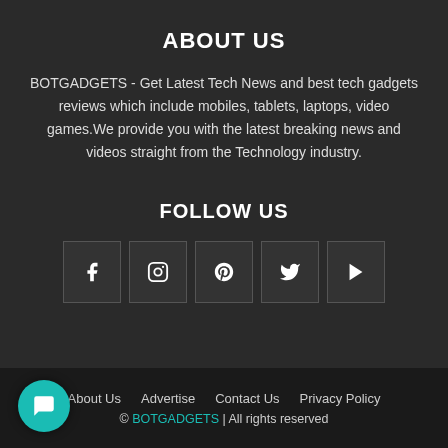ABOUT US
BOTGADGETS - Get Latest Tech News and best tech gadgets reviews which include mobiles, tablets, laptops, video games.We provide you with the latest breaking news and videos straight from the Technology industry.
FOLLOW US
[Figure (infographic): Five social media icon boxes: Facebook (f), Instagram, Pinterest (p), Twitter (bird), YouTube (play button)]
About Us   Advertise   Contact Us   Privacy Policy
© BOTGADGETS | All rights reserved